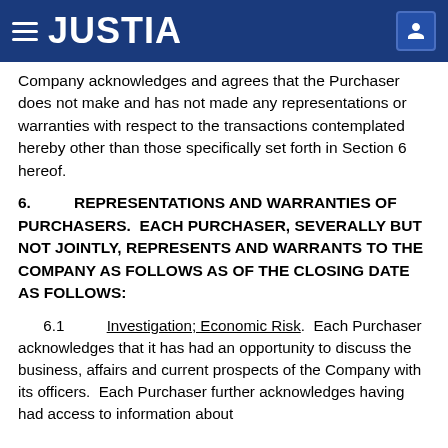JUSTIA
Company acknowledges and agrees that the Purchaser does not make and has not made any representations or warranties with respect to the transactions contemplated hereby other than those specifically set forth in Section 6 hereof.
6. REPRESENTATIONS AND WARRANTIES OF PURCHASERS. EACH PURCHASER, SEVERALLY BUT NOT JOINTLY, REPRESENTS AND WARRANTS TO THE COMPANY AS FOLLOWS AS OF THE CLOSING DATE AS FOLLOWS:
6.1 Investigation; Economic Risk. Each Purchaser acknowledges that it has had an opportunity to discuss the business, affairs and current prospects of the Company with its officers. Each Purchaser further acknowledges having had access to information about